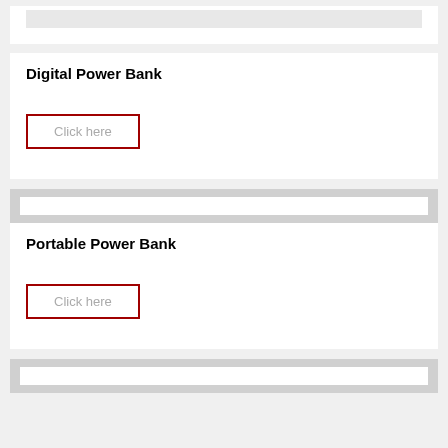[Figure (other): Partially visible top card image placeholder (white rectangle)]
Digital Power Bank
Click here
[Figure (other): Image placeholder for Portable Power Bank (white rectangle in grey section)]
Portable Power Bank
Click here
[Figure (other): Partially visible bottom card image placeholder (white rectangle in grey section)]